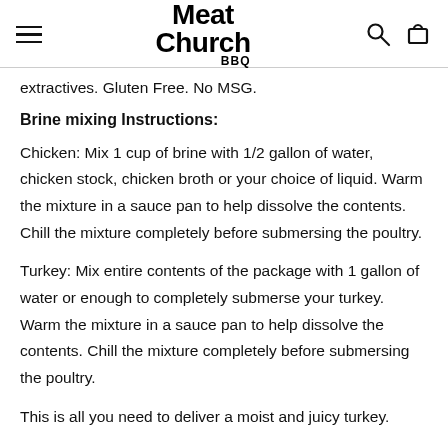Meat Church BBQ
extractives. Gluten Free. No MSG.
Brine mixing Instructions:
Chicken: Mix 1 cup of brine with 1/2 gallon of water, chicken stock, chicken broth or your choice of liquid. Warm the mixture in a sauce pan to help dissolve the contents. Chill the mixture completely before submersing the poultry.
Turkey: Mix entire contents of the package with 1 gallon of water or enough to completely submerse your turkey. Warm the mixture in a sauce pan to help dissolve the contents. Chill the mixture completely before submersing the poultry.
This is all you need to deliver a moist and juicy turkey.